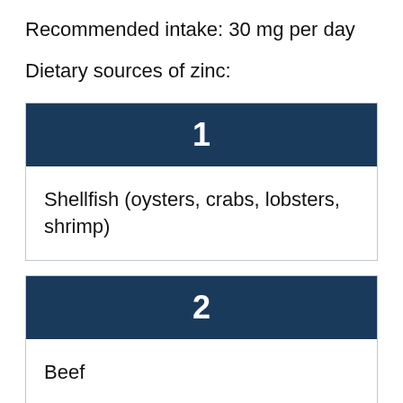Recommended intake: 30 mg per day
Dietary sources of zinc:
| 1 |
| --- |
| Shellfish (oysters, crabs, lobsters, shrimp) |
| 2 |
| --- |
| Beef |